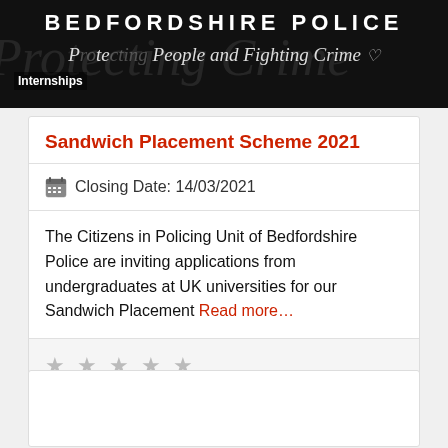BEDFORDSHIRE POLICE — Protecting People and Fighting Crime — Internships
Sandwich Placement Scheme 2021
Closing Date: 14/03/2021
The Citizens in Policing Unit of Bedfordshire Police are inviting applications from undergraduates at UK universities for our Sandwich Placement Read more…